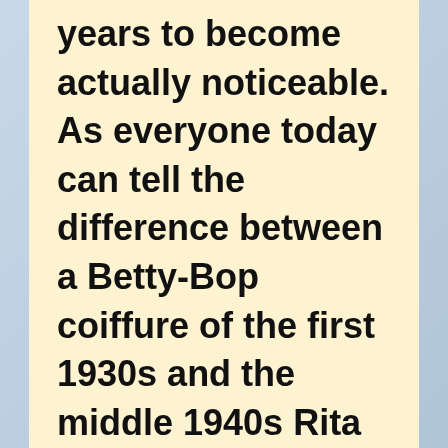years to become actually noticeable. As everyone today can tell the difference between a Betty-Bop coiffure of the first 1930s and the middle 1940s Rita Hayworth hairstyle, one could say that throughout